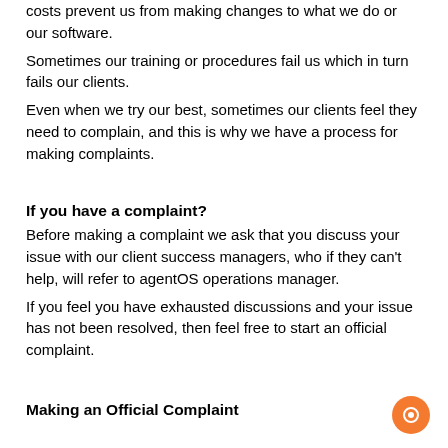costs prevent us from making changes to what we do or our software.
Sometimes our training or procedures fail us which in turn fails our clients.
Even when we try our best, sometimes our clients feel they need to complain, and this is why we have a process for making complaints.
If you have a complaint?
Before making a complaint we ask that you discuss your issue with our client success managers, who if they can't help, will refer to agentOS operations manager.
If you feel you have exhausted discussions and your issue has not been resolved, then feel free to start an official complaint.
Making an Official Complaint